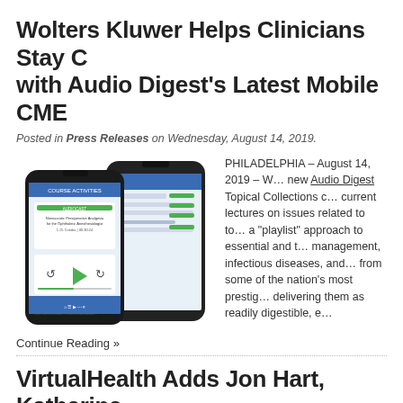Wolters Kluwer Helps Clinicians Stay C… with Audio Digest's Latest Mobile CME…
Posted in Press Releases on Wednesday, August 14, 2019.
[Figure (photo): Two smartphones showing Audio Digest mobile CME app interface with course activities, playlists, and audio player controls]
PHILADELPHIA – August 14, 2019 – W… new Audio Digest Topical Collections c… current lectures on issues related to to… a "playlist" approach to essential and t… management, infectious diseases, ano… from some of the nation's most prestig… delivering them as readily digestible, e…
Continue Reading »
VirtualHealth Adds Jon Hart, Katherine…